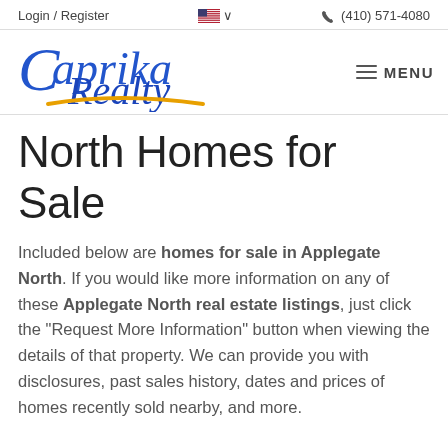Login / Register   🇺🇸 ∨   📞 (410) 571-4080
[Figure (logo): Caprika Realty logo in blue cursive script with gold swoosh underline]
North Homes for Sale
Included below are homes for sale in Applegate North. If you would like more information on any of these Applegate North real estate listings, just click the "Request More Information" button when viewing the details of that property. We can provide you with disclosures, past sales history, dates and prices of homes recently sold nearby, and more.